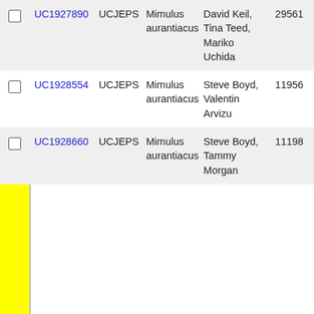|  | ID | Source | Species | Collectors | Number |
| --- | --- | --- | --- | --- | --- |
| ☐ | UC1927890 | UCJEPS | Mimulus aurantiacus | David Keil, Tina Teed, Mariko Uchida | 29561 |
| ☐ | UC1928554 | UCJEPS | Mimulus aurantiacus | Steve Boyd, Valentin Arvizu | 11956 |
| ☐ | UC1928660 | UCJEPS | Mimulus aurantiacus | Steve Boyd, Tammy Morgan | 11198 |